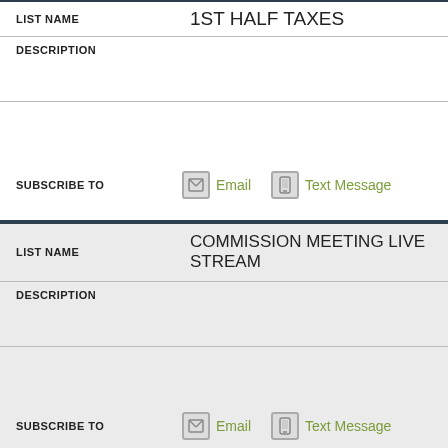| FIELD | VALUE |
| --- | --- |
| LIST NAME | 1ST HALF TAXES |
| DESCRIPTION |  |
| SUBSCRIBE TO | Email / Text Message |
| LIST NAME | COMMISSION MEETING LIVE STREAM |
| DESCRIPTION |  |
| SUBSCRIBE TO | Email / Text Message |
| LIST NAME | County Buildings Public Access |
| DESCRIPTION |  |
| SUBSCRIBE TO | Email / Text Message |